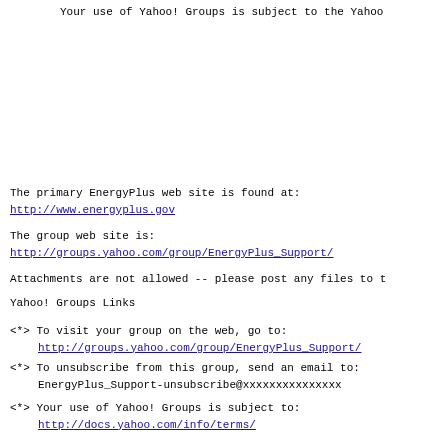Your use of Yahoo! Groups is subject to the Yahoo
The primary EnergyPlus web site is found at:
http://www.energyplus.gov
The group web site is:
http://groups.yahoo.com/group/EnergyPlus_Support/
Attachments are not allowed -- please post any files to t
Yahoo! Groups Links
<*> To visit your group on the web, go to:
     http://groups.yahoo.com/group/EnergyPlus_Support/
<*> To unsubscribe from this group, send an email to:
     EnergyPlus_Support-unsubscribe@xxxxxxxxxxxxxxx
<*> Your use of Yahoo! Groups is subject to:
     http://docs.yahoo.com/info/terms/